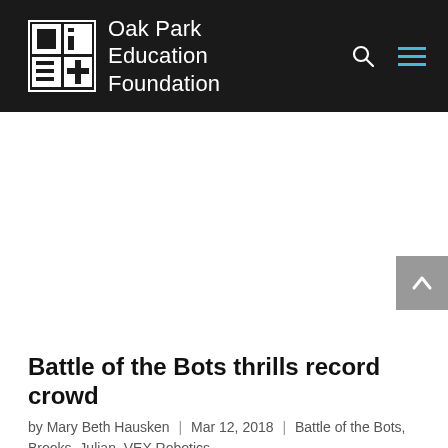Oak Park Education Foundation
Battle of the Bots thrills record crowd
by Mary Beth Hausken | Mar 12, 2018 | Battle of the Bots, Brooks, Julian, VEX Robotics